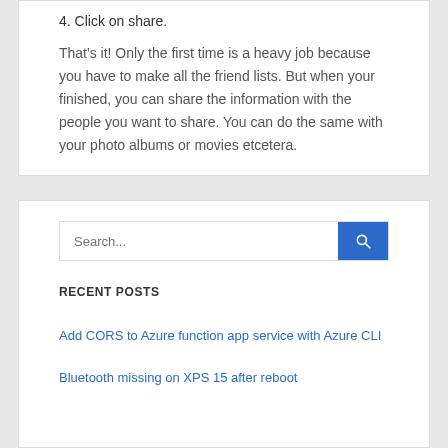4. Click on share.
That's it! Only the first time is a heavy job because you have to make all the friend lists. But when your finished, you can share the information with the people you want to share. You can do the same with your photo albums or movies etcetera.
[Figure (screenshot): Search bar with blue search button]
RECENT POSTS
Add CORS to Azure function app service with Azure CLI
Bluetooth missing on XPS 15 after reboot